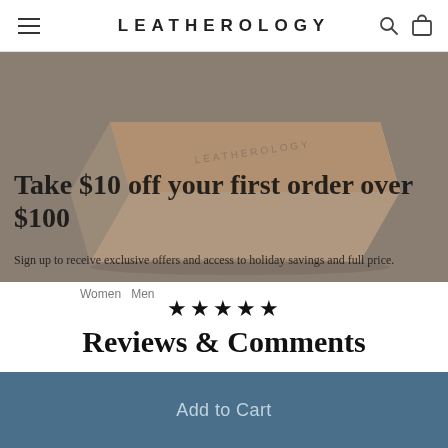LEATHEROLOGY
[Figure (photo): A tan/beige rectangular Leatherology branded gift box, photographed at an angle against a gray background. The box lid reads LEATHEROLOGY in raised lettering.]
Take $10 off your first order over $100
Sign up to receive exclusive offers and access to holiday savings and full price.
Women   Men
★★★★★
Reviews & Comments
Add Your Review
Add to Cart